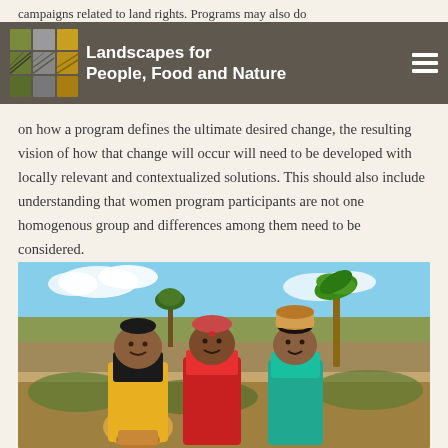campaigns related to land rights. Programs may also do all of these.
[Figure (logo): Landscapes for People, Food and Nature logo with colored grid squares and organization name]
on how a program defines the ultimate desired change, the resulting vision of how that change will occur will need to be developed with locally relevant and contextualized solutions. This should also include understanding that women program participants are not one homogenous group and differences among them need to be considered.
[Figure (photo): Three women in colorful saris (yellow, red/pink, teal) smiling in an agricultural field, one carrying a basket on her head. Trees and blue sky in background.]